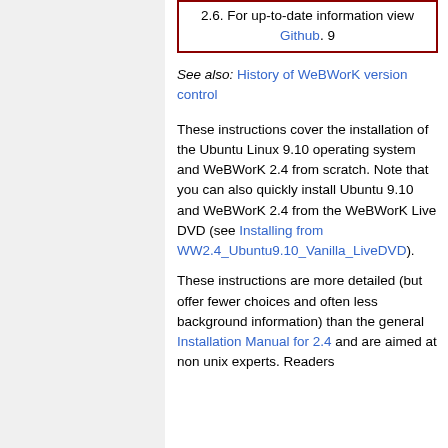2.6. For up-to-date information view Github. 9
See also: History of WeBWorK version control
These instructions cover the installation of the Ubuntu Linux 9.10 operating system and WeBWorK 2.4 from scratch. Note that you can also quickly install Ubuntu 9.10 and WeBWorK 2.4 from the WeBWorK Live DVD (see Installing from WW2.4_Ubuntu9.10_Vanilla_LiveDVD).
These instructions are more detailed (but offer fewer choices and often less background information) than the general Installation Manual for 2.4 and are aimed at non unix experts. Readers